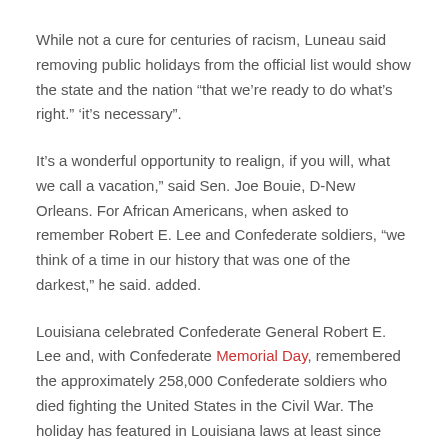While not a cure for centuries of racism, Luneau said removing public holidays from the official list would show the state and the nation “that we’re ready to do what’s right.” ‘it’s necessary”.
It’s a wonderful opportunity to realign, if you will, what we call a vacation,” said Sen. Joe Bouie, D-New Orleans. For African Americans, when asked to remember Robert E. Lee and Confederate soldiers, “we think of a time in our history that was one of the darkest,” he said. added.
Louisiana celebrated Confederate General Robert E. Lee and, with Confederate Memorial Day, remembered the approximately 258,000 Confederate soldiers who died fighting the United States in the Civil War. The holiday has featured in Louisiana laws at least since 1925, but could have been part of the scene as early as the 1870s, when a number of Southern states adopted the holiday to reflect Memorial Day for soldiers of The union.